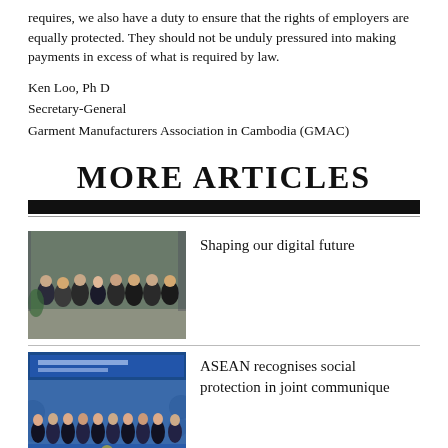requires, we also have a duty to ensure that the rights of employers are equally protected. They should not be unduly pressured into making payments in excess of what is required by law.
Ken Loo, Ph D
Secretary-General
Garment Manufacturers Association in Cambodia (GMAC)
MORE ARTICLES
[Figure (photo): Group photo of several people in formal attire standing indoors]
Shaping our digital future
[Figure (photo): Group photo at ASEAN Foreign Ministers Meeting with banner in background]
ASEAN recognises social protection in joint communique